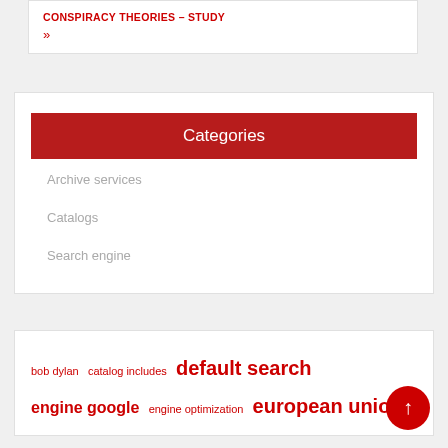CONSPIRACY THEORIES – STUDY
»
Categories
Archive services
Catalogs
Search engine
bob dylan  catalog includes  default search  engine google  engine optimization  european union